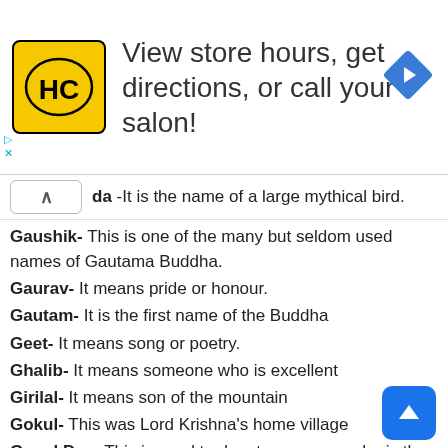[Figure (screenshot): Advertisement banner for a hair salon locator app (HC logo, yellow square) with text 'View store hours, get directions, or call your salon!' and a blue map direction diamond icon]
da -It is the name of a large mythical bird.
Gaushik- This is one of the many but seldom used names of Gautama Buddha.
Gaurav- It means pride or honour.
Gautam- It is the first name of the Buddha
Geet- It means song or poetry.
Ghalib- It means someone who is excellent
Girilal- It means son of the mountain
Gokul- This was Lord Krishna's home village
Gopal Das- This is used to denote someone who is the servant of Lord Krishna
Gorakh- It means someone who takes care of cows.
Goswami -It means the master of cows
Govind-It means cowherder. It was also the name of the 10th Sikh guru.